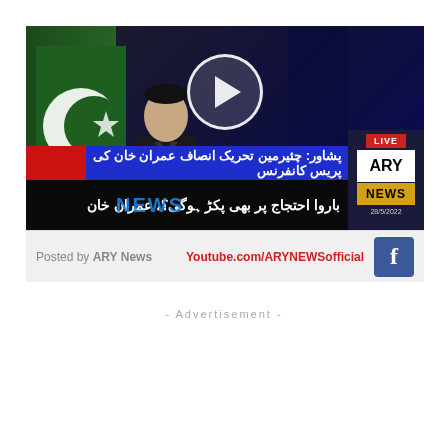[Figure (screenshot): Embedded ARY News video thumbnail showing Imran Khan at a press conference in Peshawar with Urdu lower-third text and ARY NEWS LIVE logo. Play button overlay visible. Bottom bar shows YouTube.com/ARYNEWSofficial link and Facebook icon. Text: 'Posted by ARY News' and 'Youtube.com/ARYNEWSofficial']
- Advertisement -